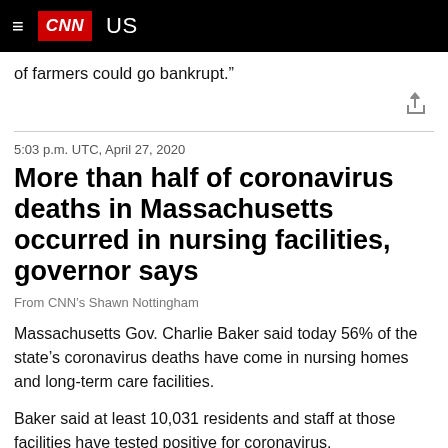≡  CNN  US
of farmers could go bankrupt.”
5:03 p.m. UTC, April 27, 2020
More than half of coronavirus deaths in Massachusetts occurred in nursing facilities, governor says
From CNN’s Shawn Nottingham
Massachusetts Gov. Charlie Baker said today 56% of the state’s coronavirus deaths have come in nursing homes and long-term care facilities.
Baker said at least 10,031 residents and staff at those facilities have tested positive for coronavirus.